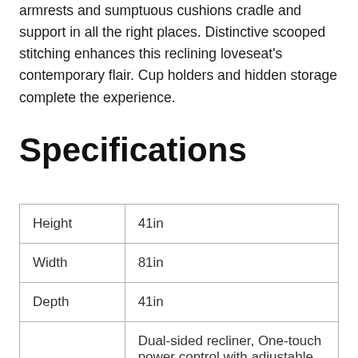armrests and sumptuous cushions cradle and support in all the right places. Distinctive scooped stitching enhances this reclining loveseat's contemporary flair. Cup holders and hidden storage complete the experience.
Specifications
| Height | 41in |
| Width | 81in |
| Depth | 41in |
|  | Dual-sided recliner, One-touch power control with adjustable positions, Corner-blocked frame with metal reinforced seat. Attached |